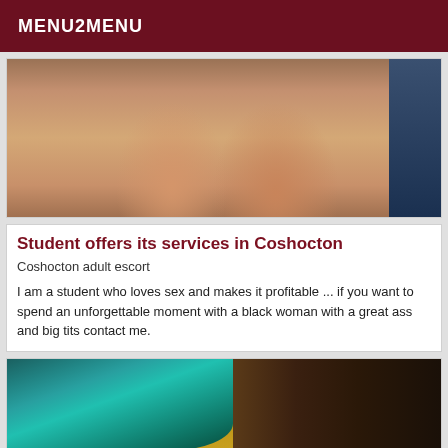MENU2MENU
[Figure (photo): Close-up photo of a person's legs/thighs against a stone wall background, with a dark blue panel on the right edge]
Student offers its services in Coshocton
Coshocton adult escort
I am a student who loves sex and makes it profitable ... if you want to spend an unforgettable moment with a black woman with a great ass and big tits contact me.
[Figure (photo): Photo showing a person with teal/blue-green hair against a yellow wall, with a dark wooden door or panel on the right side]